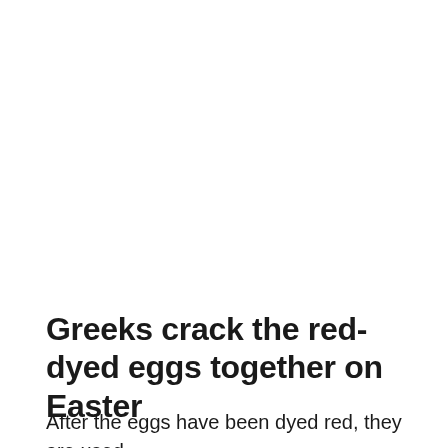Greeks crack the red-dyed eggs together on Easter
After the eggs have been dyed red, they are used